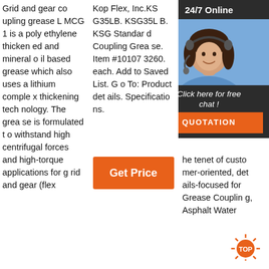Grid and gear coupling grease L MCG 1 is a polyethylene thickened and mineral oil based grease which also uses a lithium complex thickening technology. The grease is formulated to withstand high centrifugal forces and high-torque applications for grid and gear (flex
Kop Flex, Inc.KSG35LB. KSG35LB. KSG Standard Coupling Grease. Item #101073260. each. Add to Saved List. Go To: Product details. Specifications.
[Figure (other): Customer service overlay panel with '24/7 Online' header, agent photo, 'Click here for free chat!' text, and orange QUOTATION button]
2021-6-24 · Grease Coupling; Grease Coupling - China Factory, Suppliers, Manufacturers. We have the tenet of customer-oriented, details-focused for Grease Coupling, Asphalt Water
[Figure (other): Orange 'Get Price' button]
[Figure (other): Orange 'TOP' badge with sunburst icon]